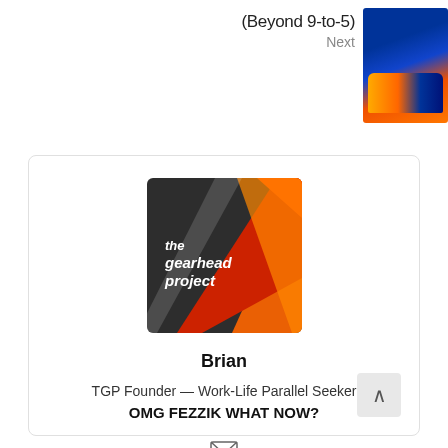(Beyond 9-to-5)
Next
[Figure (photo): Photo of a blue and orange racing truck/SUV with ADO branding]
[Figure (logo): The Gearhead Project logo — dark background with diagonal red and orange stripes and white text reading 'the gearhead project']
Brian
TGP Founder — Work-Life Parallel Seeker
OMG FEZZIK WHAT NOW?
[Figure (illustration): Email/envelope icon]